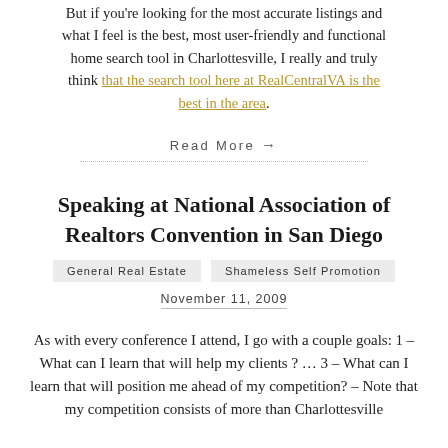But if you're looking for the most accurate listings and what I feel is the best, most user-friendly and functional home search tool in Charlottesville, I really and truly think that the search tool here at RealCentralVA is the best in the area.
Read More →
Speaking at National Association of Realtors Convention in San Diego
General Real Estate   Shameless Self Promotion
November 11, 2009
As with every conference I attend, I go with a couple goals: 1 – What can I learn that will help my clients ? … 3 – What can I learn that will position me ahead of my competition? – Note that my competition consists of more than Charlottesville